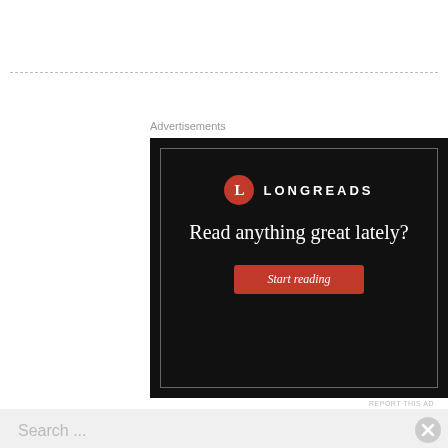Advertisements
[Figure (screenshot): Longreads advertisement on dark background with logo, headline 'Read anything great lately?' and 'Start reading' button]
REPORT THIS AD
Search ...
Advertisements
[Figure (screenshot): Pocket Casts advertisement: 'The go-to app for podcast lovers.' with Pocket Casts logo]